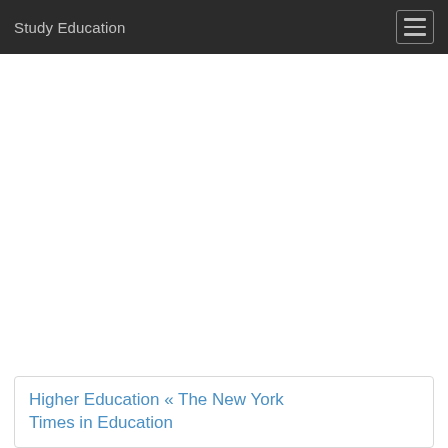Study Education
Higher Education « The New York Times in Education